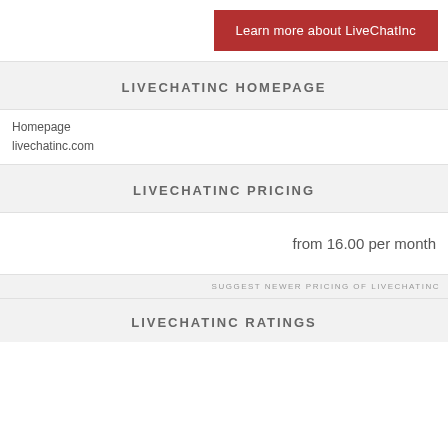Learn more about LiveChatInc
LIVECHATINC HOMEPAGE
Homepage
livechatinc.com
LIVECHATINC PRICING
from 16.00 per month
SUGGEST NEWER PRICING OF LIVECHATINC
LIVECHATINC RATINGS